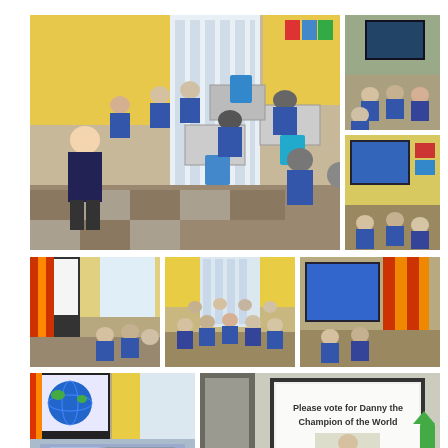[Figure (photo): Classroom scene with a boy standing at the front, other students seated at desks listening, colorful classroom decor visible]
[Figure (photo): Students seated on the floor watching a large interactive whiteboard displaying a dark image]
[Figure (photo): Students seated watching a large interactive whiteboard with a blue Windows desktop screen displayed]
[Figure (photo): Classroom with students at desks facing a whiteboard on the left side]
[Figure (photo): Wide classroom view with many students seated at desks watching a presentation]
[Figure (photo): Classroom with interactive whiteboard showing blue screen, students seated at desks]
[Figure (photo): Classroom with students at desks watching a whiteboard displaying a globe image]
[Figure (photo): Interactive whiteboard displaying text 'Please vote for Danny the Champion of the World' with an image below, student visible in foreground]
[Figure (photo): Partial view of an outdoor scene or building exterior]